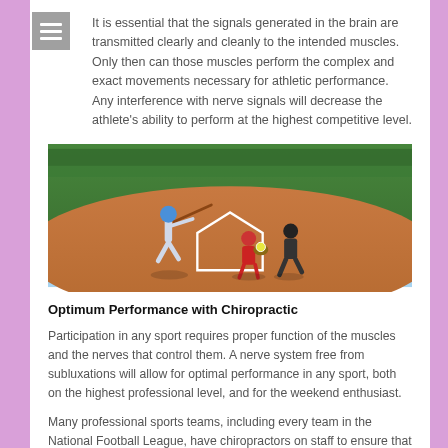It is essential that the signals generated in the brain are transmitted clearly and cleanly to the intended muscles. Only then can those muscles perform the complex and exact movements necessary for athletic performance. Any interference with nerve signals will decrease the athlete's ability to perform at the highest competitive level.
[Figure (photo): Baseball game photo showing a batter swinging, a catcher crouching, and an umpire at home plate on a red clay field.]
Optimum Performance with Chiropractic
Participation in any sport requires proper function of the muscles and the nerves that control them. A nerve system free from subluxations will allow for optimal performance in any sport, both on the highest professional level, and for the weekend enthusiast.
Many professional sports teams, including every team in the National Football League, have chiropractors on staff to ensure that their players can perform at their maximum level. Studies have shown that chiropractic care can result in a 14.8% increase in reaction time. For